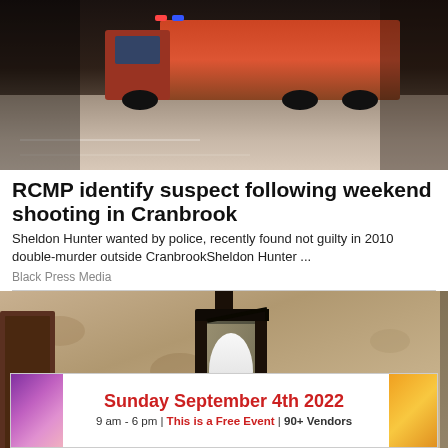[Figure (photo): Night scene with a red truck on a road/parking area]
RCMP identify suspect following weekend shooting in Cranbrook
Sheldon Hunter wanted by police, recently found not guilty in 2010 double-murder outside CranbrookSheldon Hunter ...
Black Press Media
[Figure (photo): Outdoor wall-mounted lantern light fixture on a textured stucco wall]
[Figure (infographic): Advertisement banner: Sunday September 4th 2022, 9 am - 6 pm | This is a Free Event | 90+ Vendors]